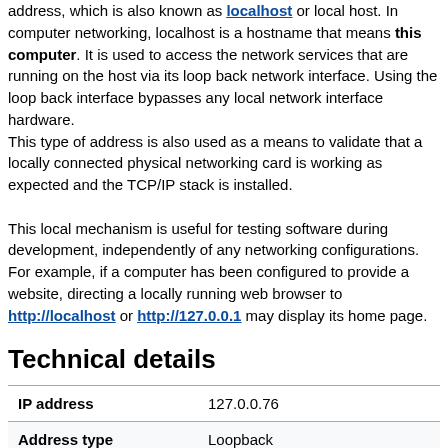address, which is also known as localhost or local host. In computer networking, localhost is a hostname that means this computer. It is used to access the network services that are running on the host via its loop back network interface. Using the loop back interface bypasses any local network interface hardware.
This type of address is also used as a means to validate that a locally connected physical networking card is working as expected and the TCP/IP stack is installed.

This local mechanism is useful for testing software during development, independently of any networking configurations. For example, if a computer has been configured to provide a website, directing a locally running web browser to http://localhost or http://127.0.0.1 may display its home page.
Technical details
| IP address | 127.0.0.76 |
| Address type | Loopback |
| Protocol version | IPv4 |